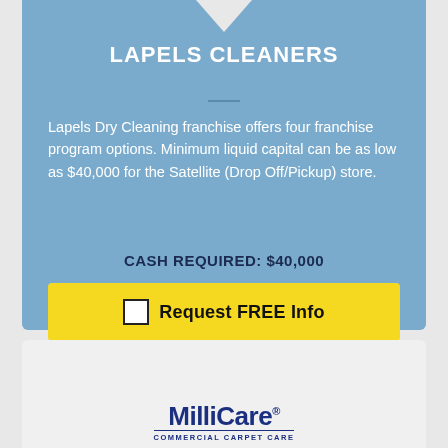LAPELS CLEANERS
Lapels Dry Cleaning franchise offers four franchise program options. Minimum liquid capital can be as low as $40,000 for the Satellite (Drop Off/Pickup) store.
CASH REQUIRED: $40,000
Request FREE Info
[Figure (logo): MilliCare commercial carpet care logo in navy blue]